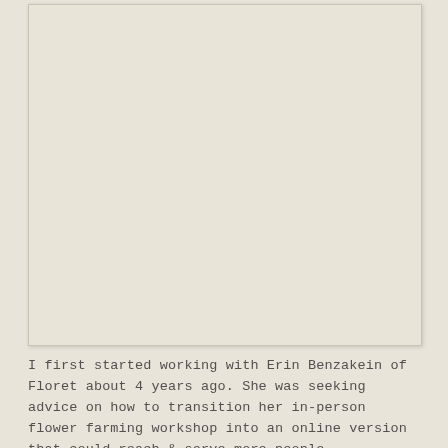[Figure (photo): A large rectangular image placeholder with a light beige/cream background color, bordered with a thin line and slight shadow, occupying most of the upper portion of the page.]
I first started working with Erin Benzakein of Floret about 4 years ago. She was seeking advice on how to transition her in-person flower farming workshop into an online version that could reach & serve more people.